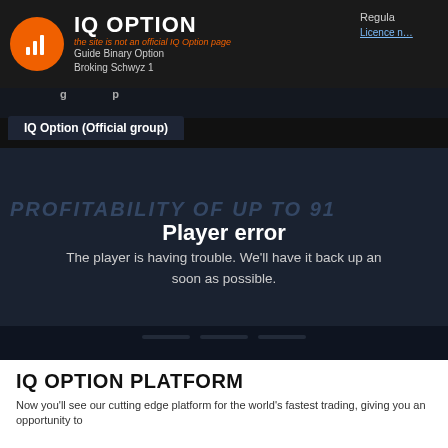IQ OPTION — Guide Binary Option Broking Schwyz 1 | the site is not an official IQ Option page | Regula… Licence n…
IQ Option (Official group)
PROFITABILITY OF UP TO 91
Player error
The player is having trouble. We'll have it back up an… soon as possible.
IQ OPTION PLATFORM
Now you'll see our cutting edge platform for the world's fastest trading, giving you an opportunity to…